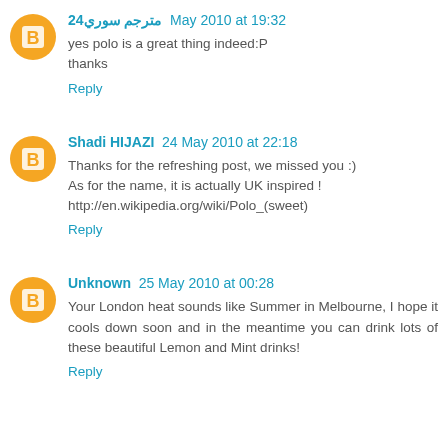مترجم سوري 24  May 2010 at 19:32
yes polo is a great thing indeed:P
thanks
Reply
Shadi HIJAZI  24 May 2010 at 22:18
Thanks for the refreshing post, we missed you :)
As for the name, it is actually UK inspired !
http://en.wikipedia.org/wiki/Polo_(sweet)
Reply
Unknown  25 May 2010 at 00:28
Your London heat sounds like Summer in Melbourne, I hope it cools down soon and in the meantime you can drink lots of these beautiful Lemon and Mint drinks!
Reply